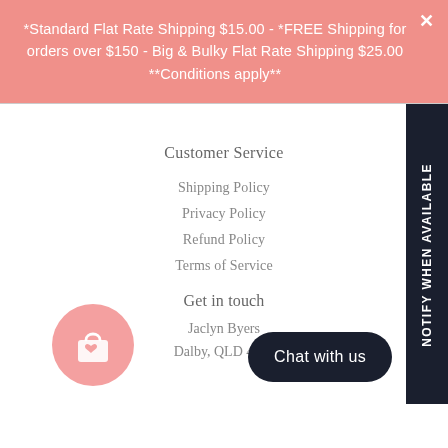*Standard Flat Rate Shipping $15.00 - *FREE Shipping for orders over $150 - Big & Bulky Flat Rate Shipping $25.00 **Conditions apply**
Customer Service
Shipping Policy
Privacy Policy
Refund Policy
Terms of Service
Get in touch
Jaclyn Byers
Dalby, QLD 4405
[Figure (other): Notify When Available vertical sidebar tab in dark navy]
[Figure (other): Pink shopping bag with heart icon in circle]
[Figure (other): Chat with us dark rounded button]